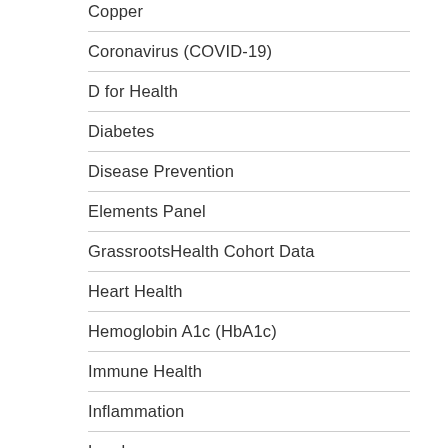Copper
Coronavirus (COVID-19)
D for Health
Diabetes
Disease Prevention
Elements Panel
GrassrootsHealth Cohort Data
Heart Health
Hemoglobin A1c (HbA1c)
Immune Health
Inflammation
Lead
Magnesium